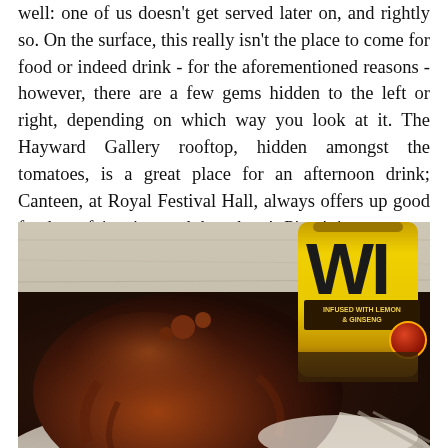well: one of us doesn't get served later on, and rightly so. On the surface, this really isn't the place to come for food or indeed drink - for the aforementioned reasons - however, there are a few gems hidden to the left or right, depending on which way you look at it. The Hayward Gallery rooftop, hidden amongst the tomatoes, is a great place for an afternoon drink; Canteen, at Royal Festival Hall, always offers up good food at a fair price; and then there's Pieminister.
[Figure (photo): Close-up photo of a pie covered in rich brown gravy on a white plate, with a yellow bottle (partially visible, showing 'WI' letters) in the background on a wooden table surface.]